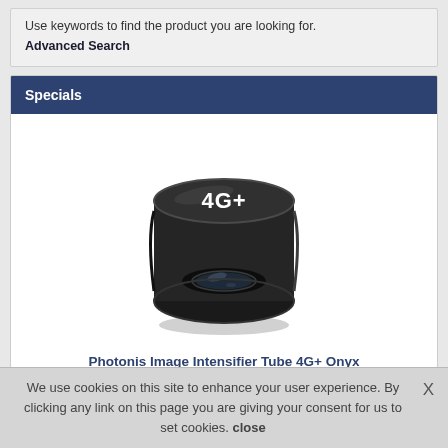Use keywords to find the product you are looking for. Advanced Search
Specials
[Figure (photo): Photonis Image Intensifier Tube 4G+ Onyx — a black cylindrical optical device with a lens aperture, labelled '4G+' on top]
Photonis Image Intensifier Tube 4G+ Onyx
We use cookies on this site to enhance your user experience. By clicking any link on this page you are giving your consent for us to set cookies. close